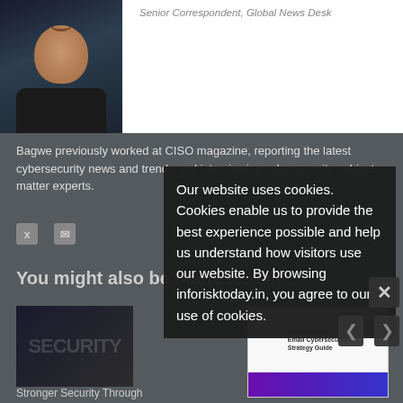[Figure (photo): Author headshot photo of a young man smiling, dark background with city lights]
Senior Correspondent, Global News Desk
Bagwe previously worked at CISO magazine, reporting the latest cybersecurity news and trends and interviewing cybersecurity subject matter experts.
[Figure (infographic): Cookie consent popup overlay reading: Our website uses cookies. Cookies enable us to provide the best experience possible and help us understand how visitors use our website. By browsing inforisktoday.in, you agree to our use of cookies.]
You might also be interested in ...
[Figure (screenshot): Thumbnail showing security themed dark image with text SECURITY]
Stronger Security Through
[Figure (screenshot): Thumbnail showing The Definitive Email Cybersecurity Strategy Guide book cover]